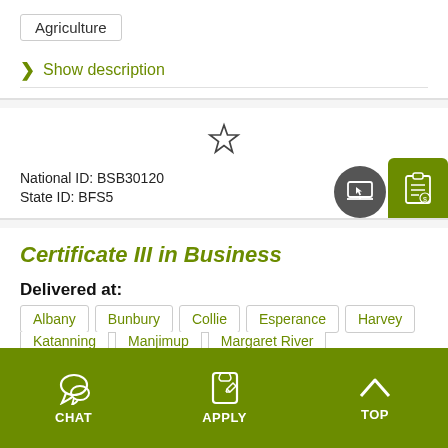Agriculture
> Show description
National ID: BSB30120
State ID: BFS5
Certificate III in Business
Delivered at:
Albany
Bunbury
Collie
Esperance
Harvey
Katanning
Manjimup
Margaret River
CHAT   APPLY   TOP